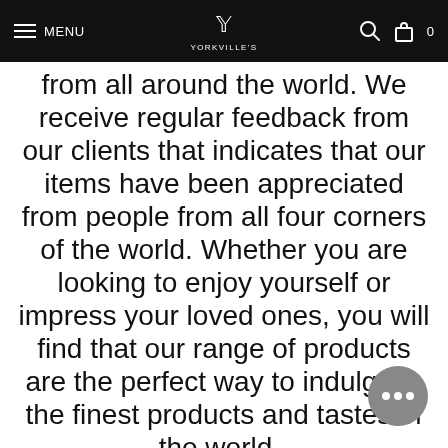MENU | YORKVILLE'S | [search] [bag] 0
from all around the world. We receive regular feedback from our clients that indicates that our items have been appreciated from people from all four corners of the world. Whether you are looking to enjoy yourself or impress your loved ones, you will find that our range of products are the perfect way to indulge in the finest products and tastes of the world - And the best news is: we ship to Alexandria, Louisiana